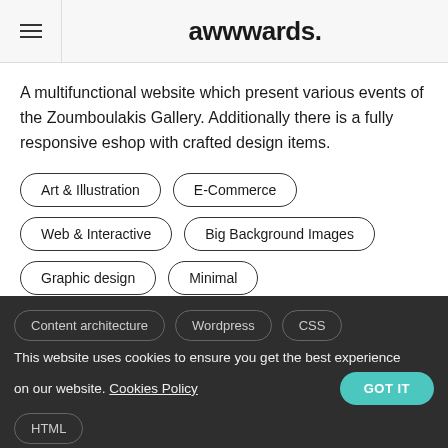awwwards.
A multifunctional website which present various events of the Zoumboulakis Gallery. Additionally there is a fully responsive eshop with crafted design items.
Art & Illustration
E-Commerce
Web & Interactive
Big Background Images
Graphic design
Minimal
Responsive Design
Filters and Effects
Content architecture
Wordpress
CSS
HTML
This website uses cookies to ensure you get the best experience on our website. Cookies Policy
GOT IT